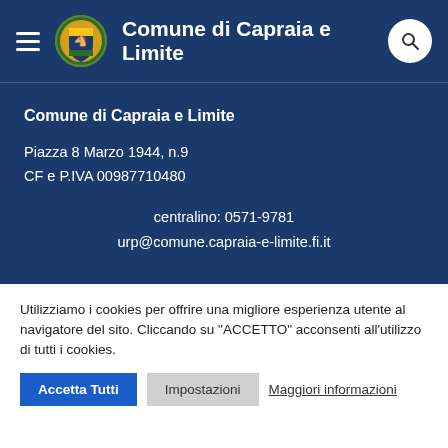Comune di Capraia e Limite
Comune di Capraia e Limite
Piazza 8 Marzo 1944, n.9
CF e P.IVA 00987710480
centralino: 0571-9781
urp@comune.capraia-e-limite.fi.it
Utilizziamo i cookies per offrire una migliore esperienza utente al navigatore del sito. Cliccando su "ACCETTO" acconsenti all'utilizzo di tutti i cookies.
Accetta Tutti    Impostazioni    Maggiori informazioni